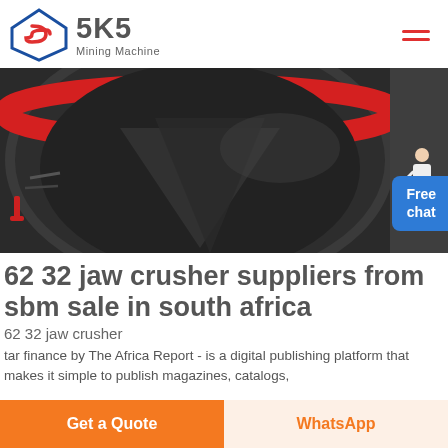SKS Mining Machine
[Figure (photo): Close-up photo of a jaw crusher machine showing black metal body with red painted rim and internal components]
62 32 jaw crusher suppliers from sbm sale in south africa
62 32 jaw crusher
tar finance by The Africa Report - is a digital publishing platform that makes it simple to publish magazines, catalogs,
Get a Quote   WhatsApp